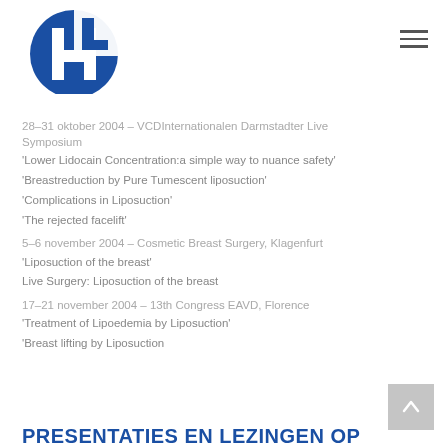[Figure (logo): LH clinic logo — blue circle with white LH letters]
28–31 oktober 2004 – VCDInternationalen Darmstadter Live Symposium
'Lower Lidocain Concentration:a simple way to nuance safety'
'Breastreduction by Pure Tumescent liposuction'
'Complications in Liposuction'
'The rejected facelift'
5–6 november 2004 – Cosmetic Breast Surgery, Klagenfurt
'Liposuction of the breast'
Live Surgery: Liposuction of the breast
17–21 november 2004 – 13th Congress EAVD, Florence
'Treatment of Lipoedemia by Liposuction'
'Breast lifting by Liposuction
PRESENTATIES EN LEZINGEN OP